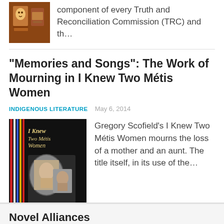[Figure (photo): Book cover thumbnail for an Indigenous-themed book with artwork]
component of every Truth and Reconciliation Commission (TRC) and th…
“Memories and Songs”: The Work of Mourning in I Knew Two Métis Women
INDIGENOUS LITERATURE   May 6, 2014
[Figure (photo): Book cover of 'I Knew Two Métis Women' by Gregory Scofield showing photographs and ribbons]
Gregory Scofield’s I Knew Two Métis Women mourns the loss of a mother and an aunt. The title itself, in its use of the…
1   2   Next
Novel Alliances